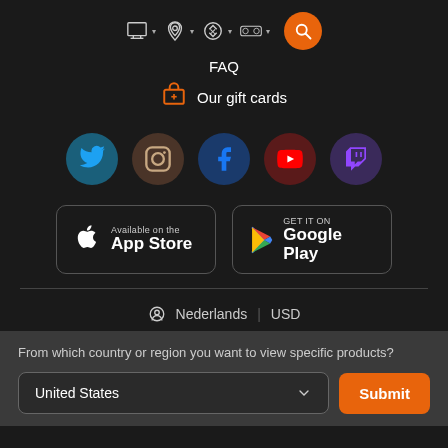[Figure (screenshot): Navigation bar with PC, PlayStation, Xbox, Nintendo Switch icons with dropdown chevrons and orange search button]
FAQ
Our gift cards
[Figure (infographic): Social media icons: Twitter, Instagram, Facebook, YouTube, Twitch as colored circles]
[Figure (infographic): App store buttons: Available on the App Store and GET IT ON Google Play]
Nederlands | USD
From which country or region you want to view specific products?
United States
Submit